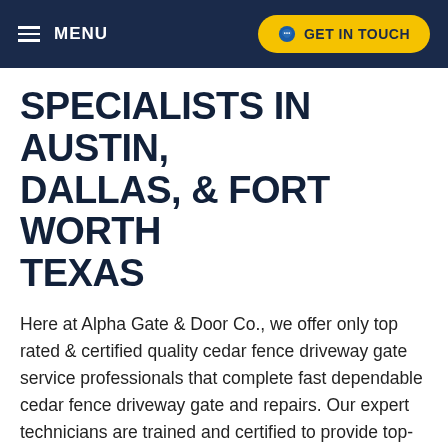MENU  |  GET IN TOUCH
SPECIALISTS IN AUSTIN, DALLAS, & FORT WORTH TEXAS
Here at Alpha Gate & Door Co., we offer only top rated & certified quality cedar fence driveway gate service professionals that complete fast dependable cedar fence driveway gate and repairs. Our expert technicians are trained and certified to provide top-notch cedar fence driveway gate services to our customers.